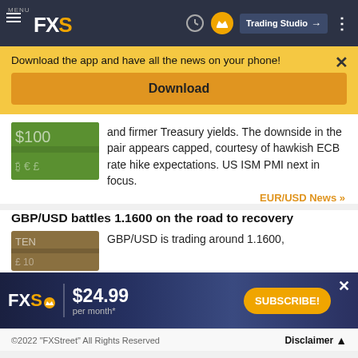MENU FXS | Trading Studio
Download the app and have all the news on your phone!
Download
and firmer Treasury yields. The downside in the pair appears capped, courtesy of hawkish ECB rate hike expectations. US ISM PMI next in focus.
EUR/USD News >>
GBP/USD battles 1.1600 on the road to recovery
GBP/USD is trading around 1.1600,
[Figure (screenshot): FXS subscription ad banner: FXS logo with crown, $24.99 per month*, SUBSCRIBE! button]
©2022 "FXStreet" All Rights Reserved | Disclaimer